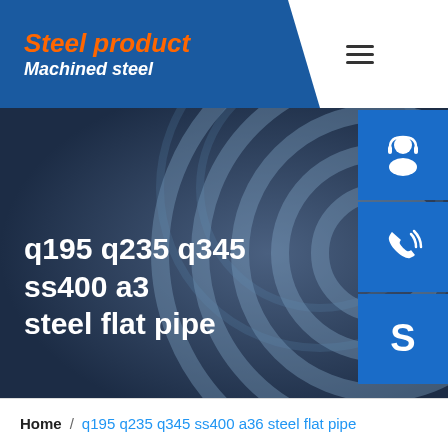Steel product
Machined steel
q195 q235 q345 ss400 a36 steel flat pipe
[Figure (screenshot): Website hero banner with dark blue steel background showing circular steel pipes, with three blue icon buttons on the right (customer support, phone, Skype)]
Home / q195 q235 q345 ss400 a36 steel flat pipe
[Figure (photo): Bottom portion showing steel flat pipes/products]